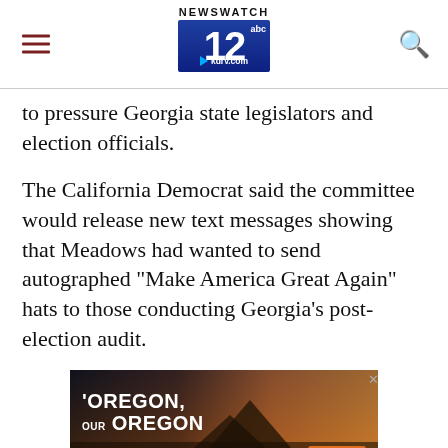NEWSWATCH 12 abc kdrv.com
to pressure Georgia state legislators and election officials.
The California Democrat said the committee would release new text messages showing that Meadows had wanted to send autographed "Make America Great Again" hats to those conducting Georgia's post-election audit.
[Figure (other): Advertisement banner: 'OREGON, OUR OREGON' with mountain landscape and 'LEARN MORE' button]
Committee aides said the hearing would